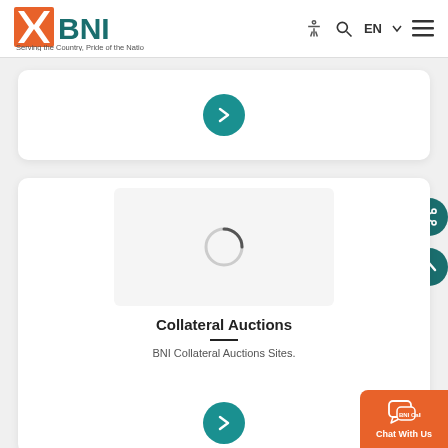[Figure (logo): BNI bank logo with orange and teal colors, tagline: Serving the Country, Pride of the Nation]
[Figure (screenshot): Navigation bar icons: accessibility, search, EN language selector, hamburger menu]
[Figure (other): Teal circular next/chevron button on white card]
[Figure (other): Loading spinner in a gray placeholder image area]
Collateral Auctions
BNI Collateral Auctions Sites.
[Figure (other): Teal circular share icon button on right side]
[Figure (other): Teal circular scroll-up arrow button on right side]
[Figure (other): Orange BNI Call chat button with chat icon and Chat With Us text]